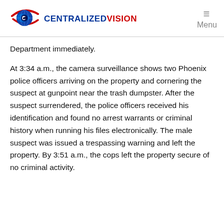[Figure (logo): Centralized Vision logo with eye/globe graphic and text 'CENTRALIZEDVISION' in blue and red]
Menu
Department immediately.
At 3:34 a.m., the camera surveillance shows two Phoenix police officers arriving on the property and cornering the suspect at gunpoint near the trash dumpster. After the suspect surrendered, the police officers received his identification and found no arrest warrants or criminal history when running his files electronically. The male suspect was issued a trespassing warning and left the property. By 3:51 a.m., the cops left the property secure of no criminal activity.